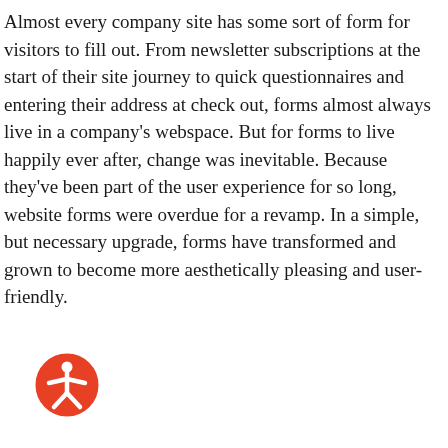Almost every company site has some sort of form for visitors to fill out. From newsletter subscriptions at the start of their site journey to quick questionnaires and entering their address at check out, forms almost always live in a company's webspace. But for forms to live happily ever after, change was inevitable. Because they've been part of the user experience for so long, website forms were overdue for a revamp. In a simple, but necessary upgrade, forms have transformed and grown to become more aesthetically pleasing and user-friendly.
[Figure (logo): Accessibility icon: orange circle with white human figure (arms and legs outstretched) in the center]